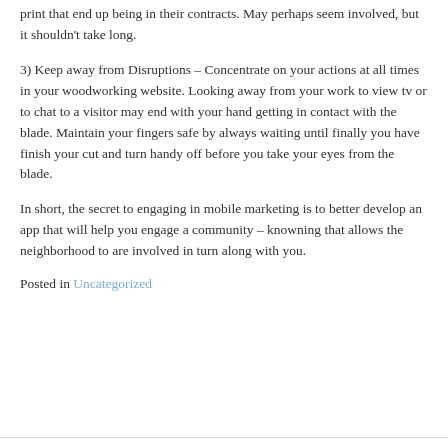print that end up being in their contracts. May perhaps seem involved, but it shouldn't take long.
3) Keep away from Disruptions – Concentrate on your actions at all times in your woodworking website. Looking away from your work to view tv or to chat to a visitor may end with your hand getting in contact with the blade. Maintain your fingers safe by always waiting until finally you have finish your cut and turn handy off before you take your eyes from the blade.
In short, the secret to engaging in mobile marketing is to better develop an app that will help you engage a community – knowning that allows the neighborhood to are involved in turn along with you.
Posted in Uncategorized